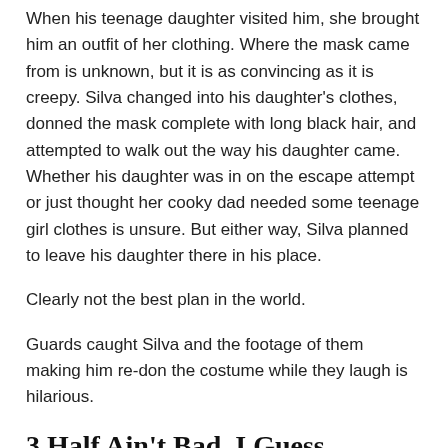When his teenage daughter visited him, she brought him an outfit of her clothing. Where the mask came from is unknown, but it is as convincing as it is creepy. Silva changed into his daughter's clothes, donned the mask complete with long black hair, and attempted to walk out the way his daughter came. Whether his daughter was in on the escape attempt or just thought her cooky dad needed some teenage girl clothes is unsure. But either way, Silva planned to leave his daughter there in his place.
Clearly not the best plan in the world.
Guards caught Silva and the footage of them making him re-don the costume while they laugh is hilarious.
3 Half Ain’t Bad, I Guess
Prisoner-of-war camps in the American Civil War were vile. In general, conditions were atrocious. Camps were overcrowded, lacked food and clean water, and were riddled with disease. Historians have repeatedly compared them to concentration camps. That’s why in